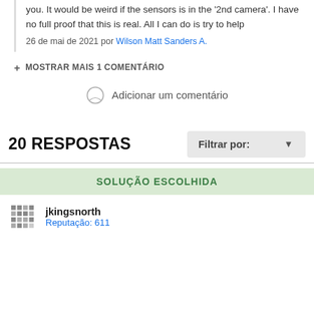you. It would be weird if the sensors is in the '2nd camera'. I have no full proof that this is real. All I can do is try to help
26 de mai de 2021 por Wilson Matt Sanders A.
+ MOSTRAR MAIS 1 COMENTÁRIO
Adicionar um comentário
20 RESPOSTAS
Filtrar por:
SOLUÇÃO ESCOLHIDA
jkingsnorth
Reputação: 611